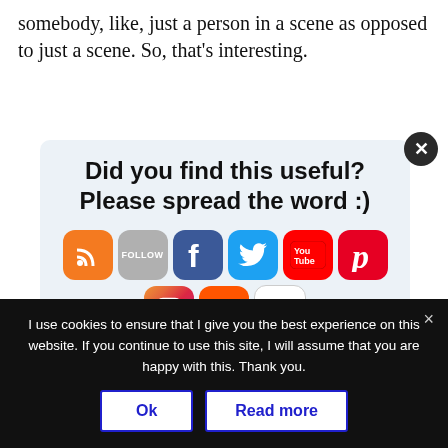somebody, like, just a person in a scene as opposed to just a scene. So, that's interesting.
[Figure (infographic): Social sharing popup box with title 'Did you find this useful? Please spread the word :)' and social media icons for RSS, Follow, Facebook, Twitter, YouTube, Pinterest, Instagram, SoundCloud, Flickr, LinkedIn. A close (X) button in top right corner.]
A
or should be people be doing
I use cookies to ensure that I give you the best experience on this website. If you continue to use this site, I will assume that you are happy with this. Thank you.
Ok
Read more